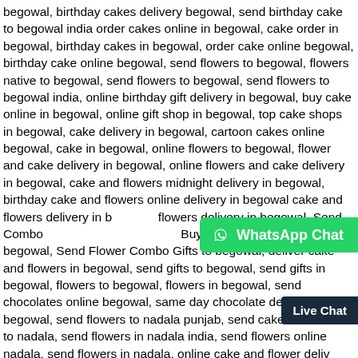begowal, birthday cakes delivery begowal, send birthday cake to begowal india order cakes online in begowal, cake order in begowal, birthday cakes in begowal, order cake online begowal, birthday cake online begowal, send flowers to begowal, flowers native to begowal, send flowers to begowal, send flowers to begowal india, online birthday gift delivery in begowal, buy cake online in begowal, online gift shop in begowal, top cake shops in begowal, cake delivery in begowal, cartoon cakes online begowal, cake in begowal, online flowers to begowal, flower and cake delivery in begowal, online flowers and cake delivery in begowal, cake and flowers midnight delivery in begowal, birthday cake and flowers online delivery in begowal cake and flowers delivery in begowal, flowers delivery in begowal, Send Combo Gifts Online in begowal, Buy Birthday Combos Online In begowal, Send Flower Combo Gifts to begowal, deliver cake and flowers in begowal, send gifts to begowal, send gifts in begowal, flowers to begowal, flowers in begowal, send chocolates online begowal, same day chocolate delivery in begowal, send flowers to nadala punjab, send cake and flowers to nadala, send flowers in nadala india, send flowers online nadala, send flowers in nadala, online cake and flower delivery in mohali, midnight cake delivery in nadala, customized cakes in nadala, gift shop in nadala, online cake delivery in nadala, online gift delivery in nadala, eggless cake bakery in nadala, online birthday gifts delivery